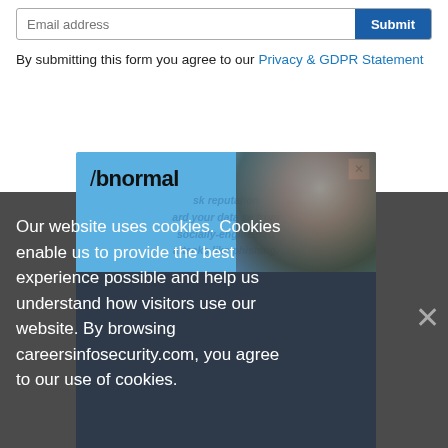Email address | Submit
By submitting this form you agree to our Privacy & GDPR Statement
[Figure (screenshot): Advertisement popup for Abnormal Security on a blue background with a photo of a man smiling, with a close button (X)]
Our website uses cookies. Cookies enable us to provide the best experience possible and help us understand how visitors use our website. By browsing careersinfosecurity.com, you agree to our use of cookies.